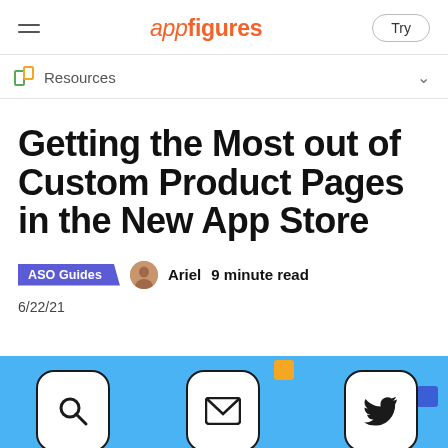appfigures — Resources — Try
Resources
Getting the Most out of Custom Product Pages in the New App Store
ASO Guides   Ariel   9 minute read
6/22/21
[Figure (illustration): Bottom banner showing app store icons (search, mail, Twitter) on a light blue background with orange and blue decorative squares]